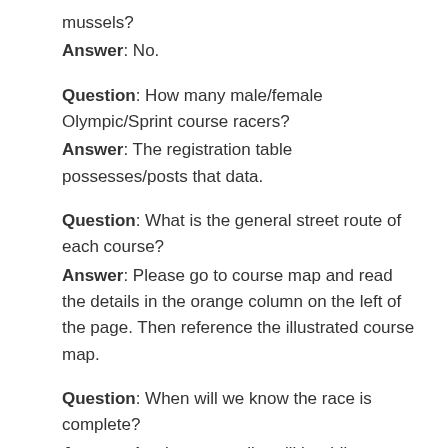mussels?
Answer: No.
Question: How many male/female Olympic/Sprint course racers?
Answer: The registration table possesses/posts that data.
Question: What is the general street route of each course?
Answer: Please go to course map and read the details in the orange column on the left of the page. Then reference the illustrated course map.
Question: When will we know the race is complete?
Answer: A volunteer cyclist will be riding